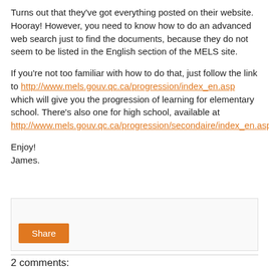Turns out that they've got everything posted on their website. Hooray! However, you need to know how to do an advanced web search just to find the documents, because they do not seem to be listed in the English section of the MELS site.
If you're not too familiar with how to do that, just follow the link to http://www.mels.gouv.qc.ca/progression/index_en.asp which will give you the progression of learning for elementary school. There's also one for high school, available at http://www.mels.gouv.qc.ca/progression/secondaire/index_en.asp.
Enjoy!
James.
[Figure (other): Share button widget box]
2 comments: